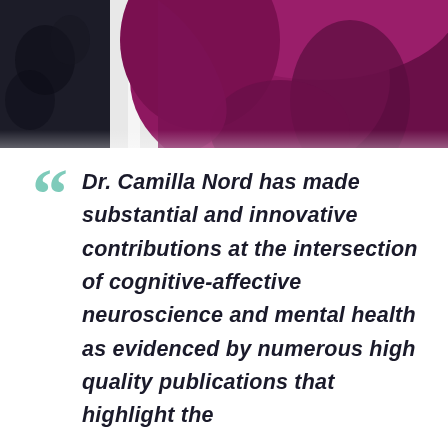[Figure (photo): Close-up photo of a person wearing a purple/magenta top, with dark background visible on the left side. Only partial upper body visible.]
"Dr. Camilla Nord has made substantial and innovative contributions at the intersection of cognitive-affective neuroscience and mental health as evidenced by numerous high quality publications that highlight the